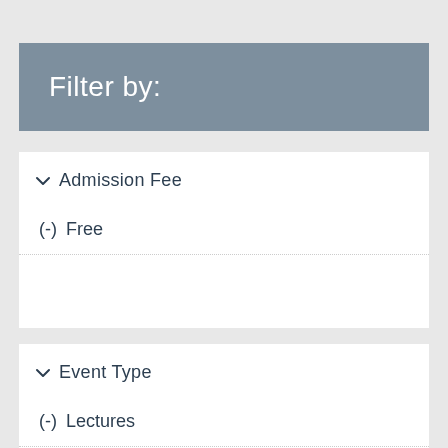Filter by:
Admission Fee
(-) Free
Event Type
(-) Lectures
Concert (2)
Conference (1)
Family-Friendly (4)
Lifelong Learning (9)